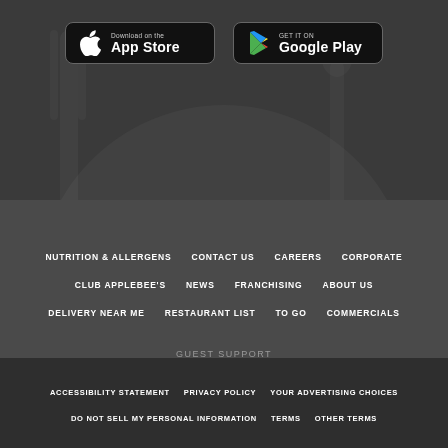[Figure (logo): Download on the App Store button (black rounded rectangle with Apple logo)]
[Figure (logo): Get it on Google Play button (black rounded rectangle with Google Play logo)]
NUTRITION & ALLERGENS
CONTACT US
CAREERS
CORPORATE
CLUB APPLEBEE'S
NEWS
FRANCHISING
ABOUT US
DELIVERY NEAR ME
RESTAURANT LIST
TO GO
COMMERCIALS
GUEST SUPPORT
PHONE: 1-888-592-7753  |  EMAIL US
ACCESSIBILITY STATEMENT
PRIVACY POLICY
YOUR ADVERTISING CHOICES
DO NOT SELL MY PERSONAL INFORMATION
TERMS
OTHER TERMS